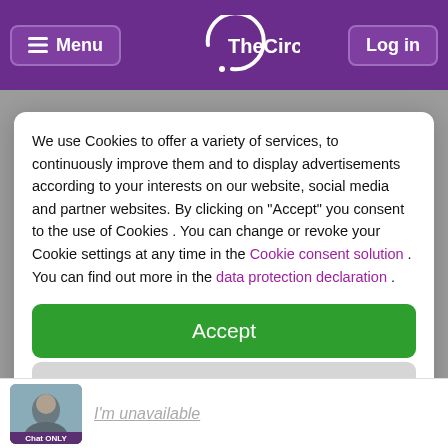Menu | TheCircle | Log in
We use Cookies to offer a variety of services, to continuously improve them and to display advertisements according to your interests on our website, social media and partner websites. By clicking on "Accept" you consent to the use of Cookies . You can change or revoke your Cookie settings at any time in the Cookie consent solution . You can find out more in the data protection declaration .
Accept
more
Powered by usercentrics
Imprint | Privacy Policy
I'm unavailable